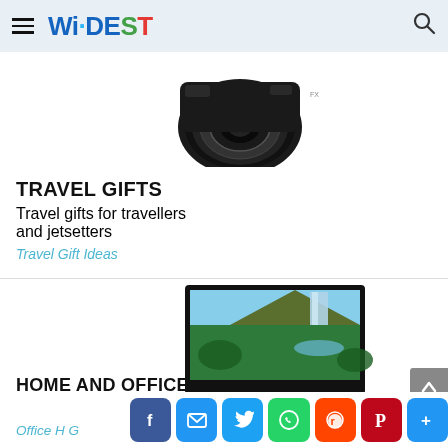WIDEST
[Figure (photo): Digital camera with lens, partially visible at top of page]
TRAVEL GIFTS
Travel gifts for travellers and jetsetters
Travel Gift Ideas
[Figure (photo): Flat screen TV displaying a waterfall and green landscape]
HOME AND OFFICE
Gift ideas for the home and office
Office H G